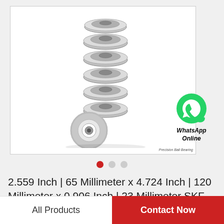[Figure (photo): Stack of silver metallic ball bearings (flanged miniature bearings) piled vertically, with one bearing lying on its side at the bottom showing the inner race. Product photo on white background.]
WhatsApp Online
2.559 Inch | 65 Millimeter x 4.724 Inch | 120 Millimeter x 0.906 Inch | 23 Millimeter SKF…
All Products
Contact Now